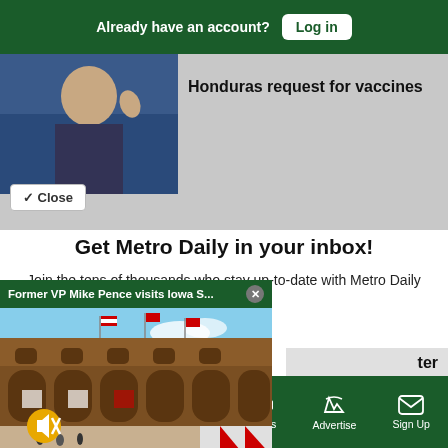Already have an account? Log in
Honduras request for vaccines
Close
Get Metro Daily in your inbox!
Join the tens of thousands who stay up-to-date with Metro Daily newsletters.
[Figure (screenshot): Video popup showing Former VP Mike Pence visits Iowa S... with a building/stadium photo and mute button]
ter
Sections  NY Edition  Philly  Games  Advertise  Sign Up